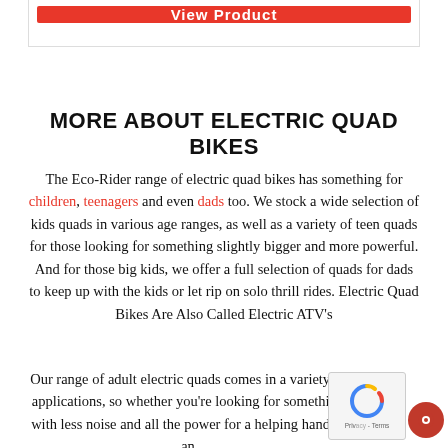[Figure (other): Red 'View Product' button at top of page inside a bordered card area]
MORE ABOUT ELECTRIC QUAD BIKES
The Eco-Rider range of electric quad bikes has something for children, teenagers and even dads too. We stock a wide selection of kids quads in various age ranges, as well as a variety of teen quads for those looking for something slightly bigger and more powerful. And for those big kids, we offer a full selection of quads for dads to keep up with the kids or let rip on solo thrill rides. Electric Quad Bikes Are Also Called Electric ATV's
Our range of adult electric quads comes in a variety of applications, so whether you're looking for something with less noise and all the power for a helping hand in an
[Figure (other): reCAPTCHA widget and red chat button in bottom right corner]